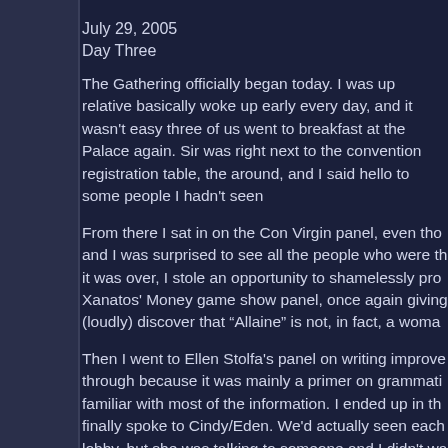July 29, 2005
Day Three
The Gathering officially began today. I was up relative basically woke up early every day, and it wasn't easy three of us went to breakfast at the Palace again. Sir was right next to the convention registration table, the around, and I said hello to some people I hadn't seen
From there I sat in on the Con Virgin panel, even tho and I was surprised to see all the people who were th it was over, I stole an opportunity to shamelessly pro Xanatos' Money game show panel, once again giving (loudly) discover that "Allaine" is not, in fact, a woma
Then I went to Ellen Stolfa's panel on writing improve through because it was mainly a primer on grammati familiar with most of the information. I ended up in th finally spoke to Cindy/Eden. We'd actually seen each lobby, but she was talking to someone and I didn't wa sure who I was). Kathy was also there and I found ou unfortunately.